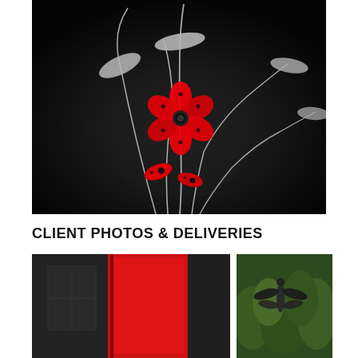[Figure (photo): Metal sculpture artwork on black background: tall curved steel stems with silver leaf-shaped forms at the top, and a bright red flower with black dot details in the center, plus two smaller red bud-like shapes lower on the stems. Artistic garden sculpture photographed against a dark/black background.]
CLIENT PHOTOS & DELIVERIES
[Figure (photo): Photo showing a red door/panel on a building exterior, dark architectural elements visible.]
[Figure (photo): Photo showing a dark metal sculpture (possibly a dragonfly or insect form) placed among green garden plants and shrubs.]